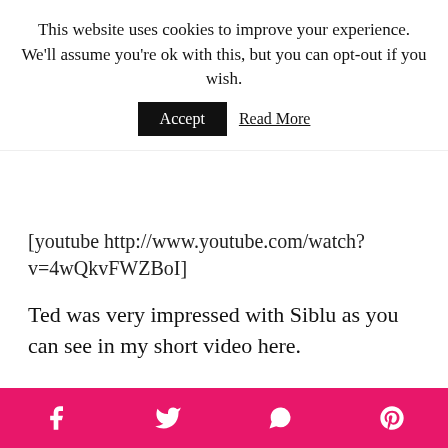This website uses cookies to improve your experience. We'll assume you're ok with this, but you can opt-out if you wish. [Accept] [Read More]
[youtube http://www.youtube.com/watch?v=4wQkvFWZBoI]
Ted was very impressed with Siblu as you can see in my short video here.
[Figure (photo): Two photos side by side: left photo shows a pink and blue Siblu branded beach umbrella with people relaxing underneath, right photo shows a young boy wearing sunglasses riding a bicycle on a tree-lined path at a campsite.]
Social share bar with Facebook, Twitter, WhatsApp, and Pinterest icons on a pink/magenta background